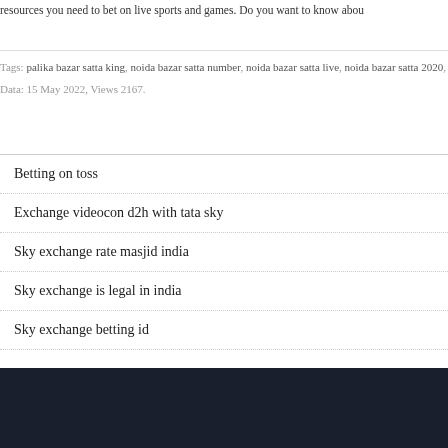resources you need to bet on live sports and games. Do you want to know abou
Tags: palika bazar satta king, noida bazar satta number, noida bazar satta live, noida bazar satta 2020,
Data: 15 May 2022, Views 2167.
Betting on toss
Exchange videocon d2h with tata sky
Sky exchange rate masjid india
Sky exchange is legal in india
Sky exchange betting id